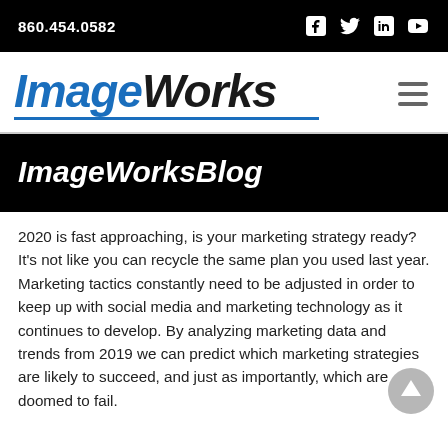860.454.0582
ImageWorks
ImageWorksBlog
2020 is fast approaching, is your marketing strategy ready? It's not like you can recycle the same plan you used last year. Marketing tactics constantly need to be adjusted in order to keep up with social media and marketing technology as it continues to develop. By analyzing marketing data and trends from 2019 we can predict which marketing strategies are likely to succeed, and just as importantly, which are doomed to fail.